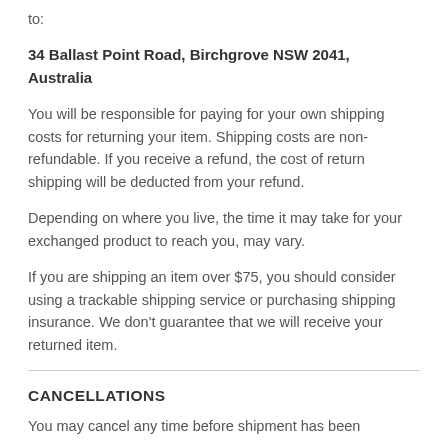to:
34 Ballast Point Road, Birchgrove NSW 2041, Australia
You will be responsible for paying for your own shipping costs for returning your item. Shipping costs are non-refundable. If you receive a refund, the cost of return shipping will be deducted from your refund.
Depending on where you live, the time it may take for your exchanged product to reach you, may vary.
If you are shipping an item over $75, you should consider using a trackable shipping service or purchasing shipping insurance. We don't guarantee that we will receive your returned item.
CANCELLATIONS
You may cancel any time before shipment has been